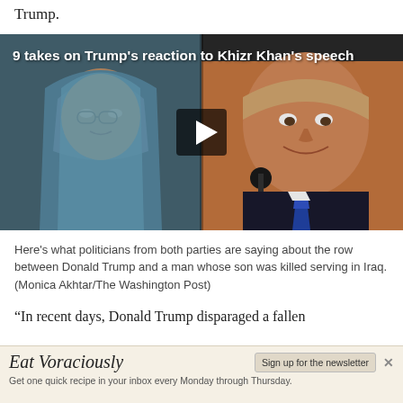Trump.
[Figure (screenshot): Video thumbnail showing two side-by-side images: on the left, a woman in a blue hijab and glasses (Ghazala Khan), and on the right, Donald Trump smiling at a microphone. A play button is centered over the images. Title overlay reads: '9 takes on Trump's reaction to Khizr Khan's speech']
Here's what politicians from both parties are saying about the row between Donald Trump and a man whose son was killed serving in Iraq. (Monica Akhtar/The Washington Post)
“In recent days, Donald Trump disparaged a fallen
[Figure (other): Advertisement banner for 'Eat Voraciously' newsletter with sign-up button. Text: 'Get one quick recipe in your inbox every Monday through Thursday.']